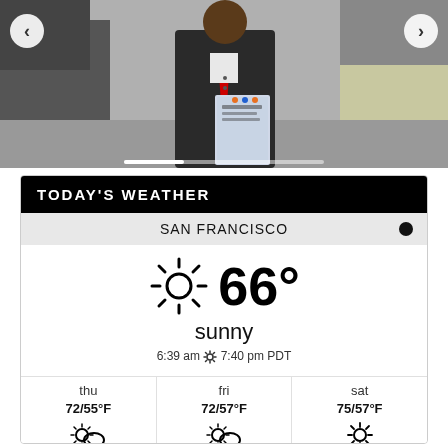[Figure (photo): Man in suit holding a book, standing outdoors. Navigation arrows on left and right.]
TODAY'S WEATHER
SAN FRANCISCO
[Figure (infographic): Weather widget showing 66 degrees sunny, 6:39 am sunrise 7:40 pm PDT sunset]
sunny
6:39 am ☀ 7:40 pm PDT
| thu | fri | sat |
| --- | --- | --- |
| 72/55°F | 72/57°F | 75/57°F |
| partly cloudy | partly cloudy | sunny |